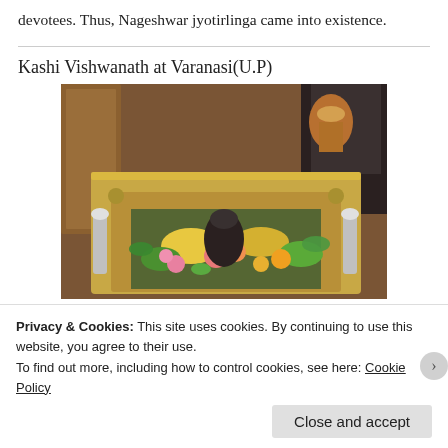devotees. Thus, Nageshwar jyotirlinga came into existence.
Kashi Vishwanath at Varanasi(U.P)
[Figure (photo): Photo of the Kashi Vishwanath jyotirlinga at Varanasi – a dark Shiva lingam surrounded by flowers and leaves inside a golden ornate tray/shrine]
Privacy & Cookies: This site uses cookies. By continuing to use this website, you agree to their use.
To find out more, including how to control cookies, see here: Cookie Policy